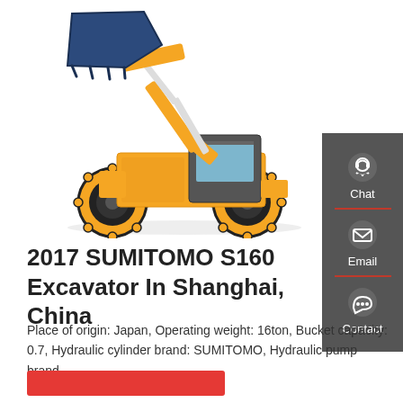[Figure (photo): Yellow wheel loader / front loader construction machine (SUMITOMO S160) with raised bucket arm, photographed on white background]
2017 SUMITOMO S160 Excavator In Shanghai, China
Place of origin: Japan, Operating weight: 16ton, Bucket capacity: 0.7, Hydraulic cylinder brand: SUMITOMO, Hydraulic pump brand